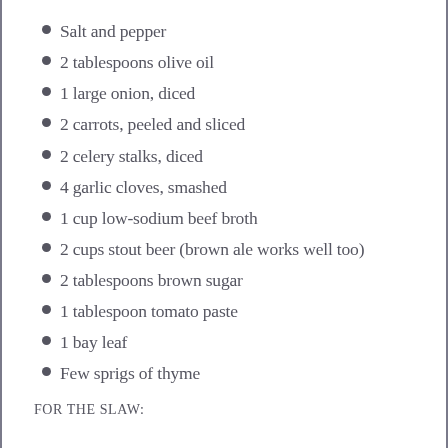Salt and pepper
2 tablespoons olive oil
1 large onion, diced
2 carrots, peeled and sliced
2 celery stalks, diced
4 garlic cloves, smashed
1 cup low-sodium beef broth
2 cups stout beer (brown ale works well too)
2 tablespoons brown sugar
1 tablespoon tomato paste
1 bay leaf
Few sprigs of thyme
FOR THE SLAW: